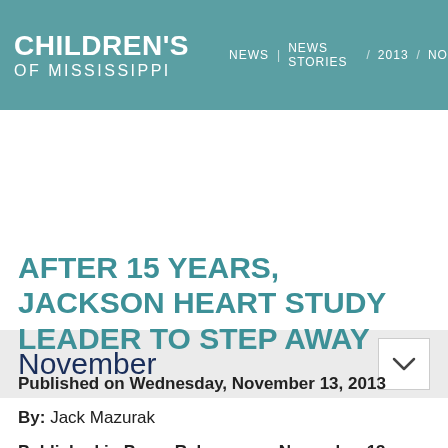CHILDREN'S OF MISSISSIPPI | NEWS | NEWS STORIES | 2013 | NOVE
November
AFTER 15 YEARS, JACKSON HEART STUDY LEADER TO STEP AWAY
Published on Wednesday, November 13, 2013
By: Jack Mazurak
Published in Press Releases on November 13